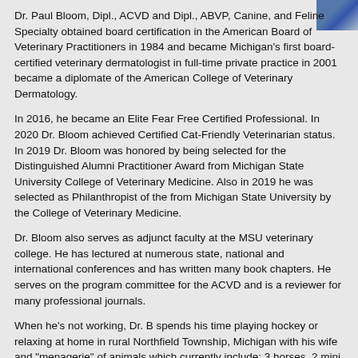[Figure (photo): Small photo of Dr. Paul Bloom in upper right corner]
Dr. Paul Bloom, Dipl., ACVD and Dipl., ABVP, Canine, and Feline Specialty obtained board certification in the American Board of Veterinary Practitioners in 1984 and became Michigan's first board-certified veterinary dermatologist in full-time private practice in 2001 became a diplomate of the American College of Veterinary Dermatology.
In 2016, he became an Elite Fear Free Certified Professional. In 2020 Dr. Bloom achieved Certified Cat-Friendly Veterinarian status. In 2019 Dr. Bloom was honored by being selected for the Distinguished Alumni Practitioner Award from Michigan State University College of Veterinary Medicine. Also in 2019 he was selected as Philanthropist of the from Michigan State University by the College of Veterinary Medicine.
Dr. Bloom also serves as adjunct faculty at the MSU veterinary college. He has lectured at numerous state, national and international conferences and has written many book chapters. He serves on the program committee for the ACVD and is a reviewer for many professional journals.
When he's not working, Dr. B spends his time playing hockey or relaxing at home in rural Northfield Township, Michigan with his wife and "menagerie" of animals which currently include; 3 horses, 2 mini donkeys, 1 goat, 1 sheep, 2 cats, and 1 dog.